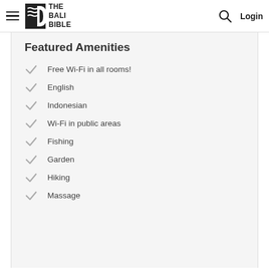THE BALI BIBLE — Login
Featured Amenities
Free Wi-Fi in all rooms!
English
Indonesian
Wi-Fi in public areas
Fishing
Garden
Hiking
Massage